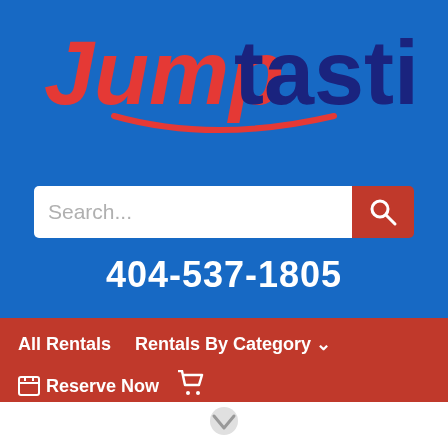[Figure (logo): Jumptastic logo with 'Jump' in red and 'tastic' in dark blue, with a red smile arc underneath]
[Figure (screenshot): Search bar with placeholder text 'Search...' and a red search button with magnifying glass icon]
404-537-1805
All Rentals   Rentals By Category ∨
🗓 Reserve Now   🛒
[Figure (photo): Hero image showing children playing in colorful bounce houses, with text overlay 'INTERACTIVE FUN FOR EVERYONE' in a white bubble]
↑ Get Started